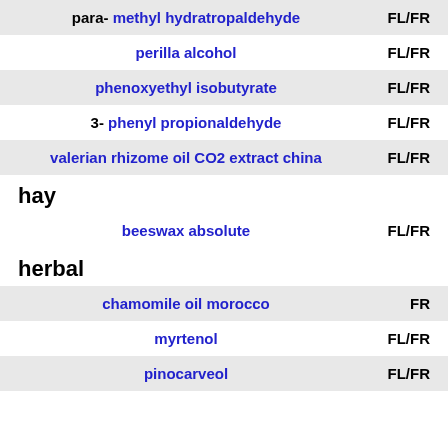para- methyl hydratropaldehyde — FL/FR
perilla alcohol — FL/FR
phenoxyethyl isobutyrate — FL/FR
3- phenyl propionaldehyde — FL/FR
valerian rhizome oil CO2 extract china — FL/FR
hay
beeswax absolute — FL/FR
herbal
chamomile oil morocco — FR
myrtenol — FL/FR
pinocarveol — FL/FR